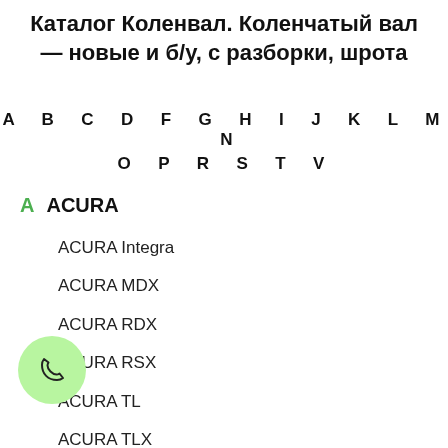Каталог Коленвал. Коленчатый вал — новые и б/у, с разборки, шрота
A B C D F G H I J K L M N O P R S T V
A ACURA
ACURA Integra
ACURA MDX
ACURA RDX
ACURA RSX
ACURA TL
ACURA TLX